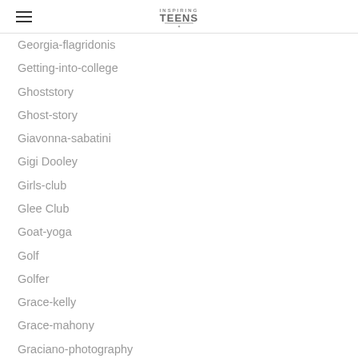Inspiring Teens
Georgia-flagridonis
Getting-into-college
Ghoststory
Ghost-story
Giavonna-sabatini
Gigi Dooley
Girls-club
Glee Club
Goat-yoga
Golf
Golfer
Grace-kelly
Grace-mahony
Graciano-photography
Grafitti-highway
Grant Eubanks
Green-briar-photography
Guitar